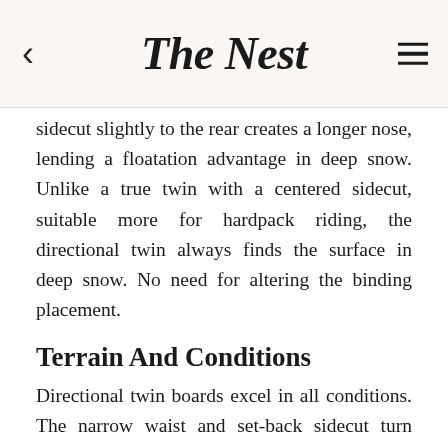The Nest
sidecut slightly to the rear creates a longer nose, lending a floatation advantage in deep snow. Unlike a true twin with a centered sidecut, suitable more for hardpack riding, the directional twin always finds the surface in deep snow. No need for altering the binding placement.
Terrain And Conditions
Directional twin boards excel in all conditions. The narrow waist and set-back sidecut turn easily on hardpack, requiring only slight body movements. The long nose floats in deep powder and the symmetrical shape makes trick initiation and fakie